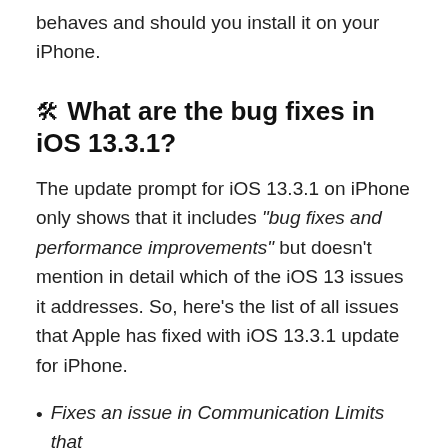behaves and should you install it on your iPhone.
🛠 What are the bug fixes in iOS 13.3.1?
The update prompt for iOS 13.3.1 on iPhone only shows that it includes "bug fixes and performance improvements" but doesn't mention in detail which of the iOS 13 issues it addresses. So, here's the list of all issues that Apple has fixed with iOS 13.3.1 update for iPhone.
Fixes an issue in Communication Limits that